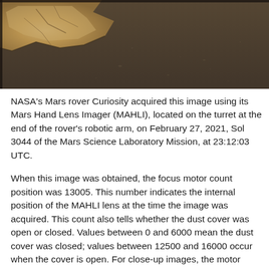[Figure (photo): Mars surface photograph taken by NASA Curiosity rover MAHLI instrument showing rocky terrain with a light-colored rock formation in the upper left against a dark brownish-grey surface]
NASA's Mars rover Curiosity acquired this image using its Mars Hand Lens Imager (MAHLI), located on the turret at the end of the rover's robotic arm, on February 27, 2021, Sol 3044 of the Mars Science Laboratory Mission, at 23:12:03 UTC.
When this image was obtained, the focus motor count position was 13005. This number indicates the internal position of the MAHLI lens at the time the image was acquired. This count also tells whether the dust cover was open or closed. Values between 0 and 6000 mean the dust cover was closed; values between 12500 and 16000 occur when the cover is open. For close-up images, the motor count can in some cases be used to estimate the distance between the MAHLI lens and target. For example, in-focus images obtained with the dust cover open for which the lens